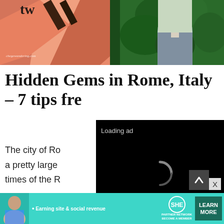[Figure (photo): Hero banner image showing a travel collage — warm salmon/orange geometric paper texture on the left blending into a lush green hedge archway on the right, with a view of Rome's dome and Italian landscape through the arch. Website watermark reads 'chegewandering.com'.]
Hidden Gems in Rome, Italy – 7 tips fre...
The city of Ro... a pretty large... times of the R... Renaissance, the Catalog Church, and...
[Figure (screenshot): Video ad overlay on black background with 'Loading ad' text top left, a spinning C-shaped loader icon in the center, and media control icons (pause, fullscreen, mute) at the bottom.]
[Figure (infographic): Bottom banner advertisement for SHE Media Partner Network. Shows a woman on the left, bullet text 'Earning site & social revenue', SHE logo in the center, and a dark green 'LEARN MORE' button on the right.]